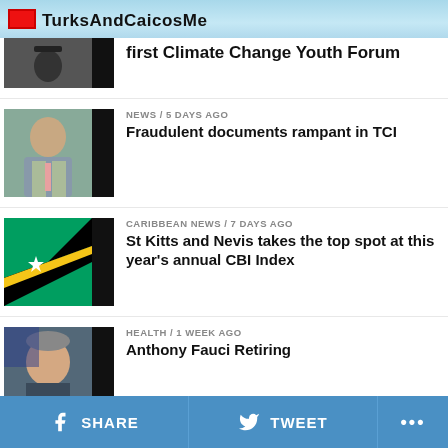TurksAndCaicosMedia
first Climate Change Youth Forum
NEWS / 5 days ago
Fraudulent documents rampant in TCI
CARIBBEAN NEWS / 7 days ago
St Kitts and Nevis takes the top spot at this year's annual CBI Index
HEALTH / 1 week ago
Anthony Fauci Retiring
BAHAMAS NEWS / 1 week ago
New Freeport Airport Development
SHARE   TWEET   ...